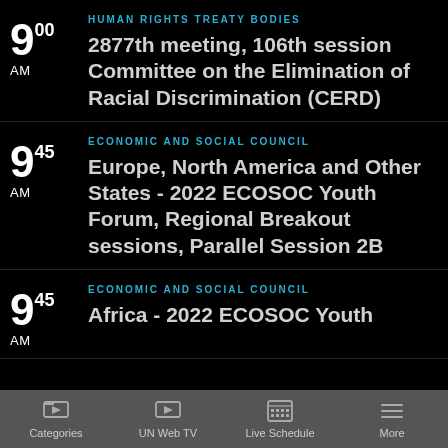9:00 AM — HUMAN RIGHTS TREATY BODIES — 2877th meeting, 106th session Committee on the Elimination of Racial Discrimination (CERD)
9:45 AM — ECONOMIC AND SOCIAL COUNCIL — Europe, North America and Other States - 2022 ECOSOC Youth Forum, Regional Breakout sessions, Parallel Session 2B
9:45 AM — ECONOMIC AND SOCIAL COUNCIL — Africa — 2022 ECOSOC Youth...
Categories | UN Web TV | Live Schedule | More